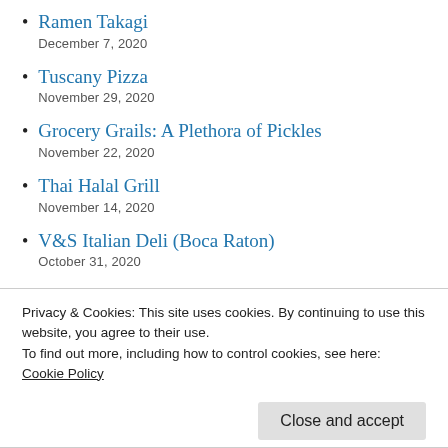Ramen Takagi
December 7, 2020
Tuscany Pizza
November 29, 2020
Grocery Grails: A Plethora of Pickles
November 22, 2020
Thai Halal Grill
November 14, 2020
V&S Italian Deli (Boca Raton)
October 31, 2020
Beyti Mediterranean Grill
Privacy & Cookies: This site uses cookies. By continuing to use this website, you agree to their use.
To find out more, including how to control cookies, see here:
Cookie Policy
Close and accept